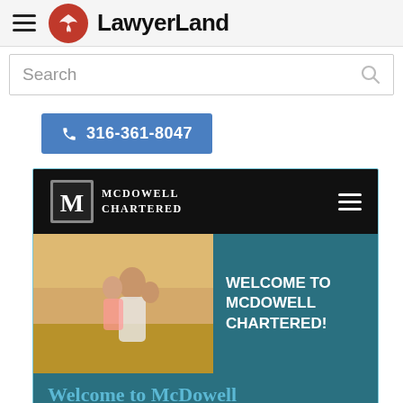LawyerLand
Search
316-361-8047
[Figure (screenshot): Screenshot of McDowell Chartered law firm website showing: black navigation bar with McDowell Chartered logo, a hero section with photo of family and teal background with 'WELCOME TO MCDOWELL CHARTERED!' text, and a teal footer area with 'Welcome to McDowell' in blue serif text.]
Welcome to McDowell